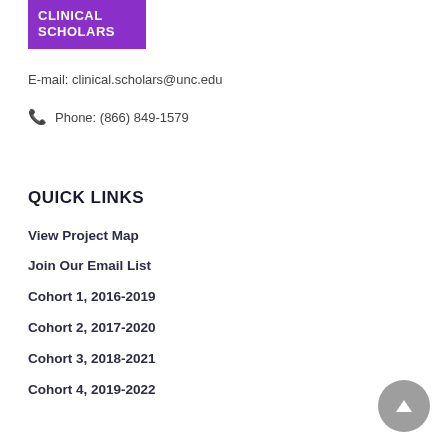[Figure (logo): Clinical Scholars purple logo box with white bold text reading CLINICAL SCHOLARS]
E-mail: clinical.scholars@unc.edu
Phone: (866) 849-1579
QUICK LINKS
View Project Map
Join Our Email List
Cohort 1, 2016-2019
Cohort 2, 2017-2020
Cohort 3, 2018-2021
Cohort 4, 2019-2022